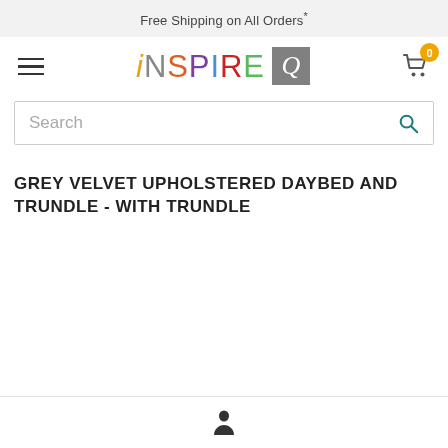Free Shipping on All Orders*
[Figure (logo): iNSPIRE Q logo with colored letters and grey Q box]
[Figure (screenshot): Search bar with search icon]
GREY VELVET UPHOLSTERED DAYBED AND TRUNDLE - WITH TRUNDLE
[Figure (illustration): User/person icon at the bottom navigation bar]